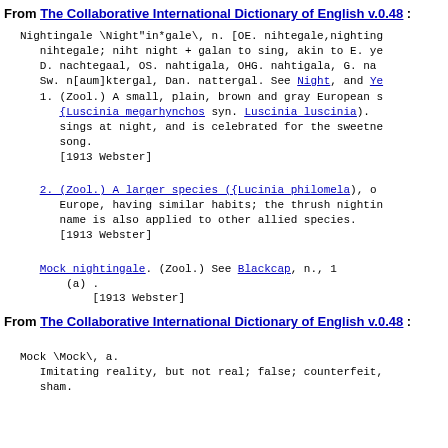From The Collaborative International Dictionary of English v.0.48 :
Nightingale \Night"in*gale\, n. [OE. nihtegale,nighting nihtegale; niht night + galan to sing, akin to E. ye D. nachtegaal, OS. nahtigala, OHG. nahtigala, G. na Sw. n[aum]ktergal, Dan. nattergal. See Night, and Ye
1. (Zool.) A small, plain, brown and gray European s ({Luscinia megarhynchos syn. Luscinia luscinia). sings at night, and is celebrated for the sweetne song. [1913 Webster]
2. (Zool.) A larger species ({Lucinia philomela), o Europe, having similar habits; the thrush nightin name is also applied to other allied species. [1913 Webster]
Mock nightingale. (Zool.) See Blackcap, n., 1 (a) . [1913 Webster]
From The Collaborative International Dictionary of English v.0.48 :
Mock \Mock\, a. Imitating reality, but not real; false; counterfeit, sham.